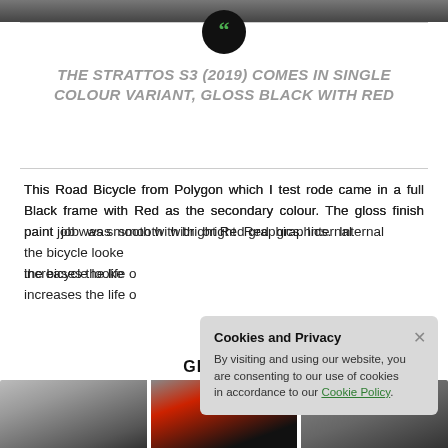[Figure (photo): Top partial image strip of bicycle scene]
[Figure (illustration): Black circular icon with green quotation marks]
THE STRATTOS S3 (2019) COMES IN SINGLE COLOUR VARIANT, GLOSS BLACK WITH RED
This Road Bicycle from Polygon which I test rode came in a full Black frame with Red as the secondary colour. The gloss finish paint job was smooth with bright Red graphics. Internal cable routing for the cables and the bicycle looked very clean and neat. Internal routing increases the life of the cables as well.
Cookies and Privacy
×
By visiting and using our website, you are consenting to our use of cookies in accordance to our Cookie Policy.
GEARING
[Figure (photo): Three bicycle component photos at bottom: rear derailleur, frame with cables, brake lever]